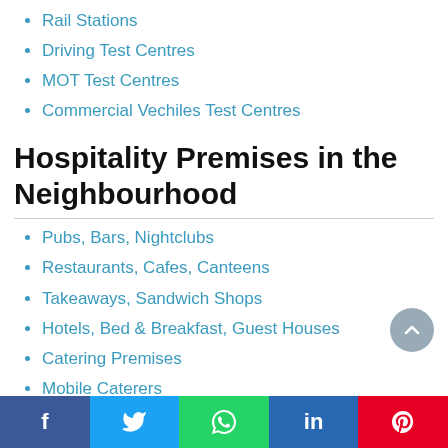Rail Stations
Driving Test Centres
MOT Test Centres
Commercial Vechiles Test Centres
Hospitality Premises in the Neighbourhood
Pubs, Bars, Nightclubs
Restaurants, Cafes, Canteens
Takeaways, Sandwich Shops
Hotels, Bed & Breakfast, Guest Houses
Catering Premises
Mobile Caterers